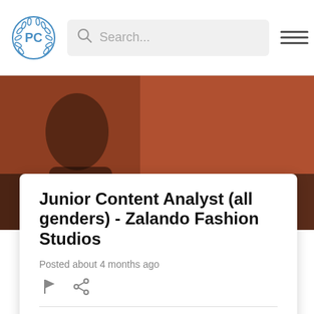PC [logo] Search...
[Figure (screenshot): Background photo showing a person in dark clothing against a warm brown/terracotta background]
Junior Content Analyst (all genders) - Zalando Fashion Studios
Posted about 4 months ago
| Label | Value |
| --- | --- |
| Location: | BE, Germany |
| Production Type: | Entertainment jobs & Crew |
| Job Type: | Staff / Crew |